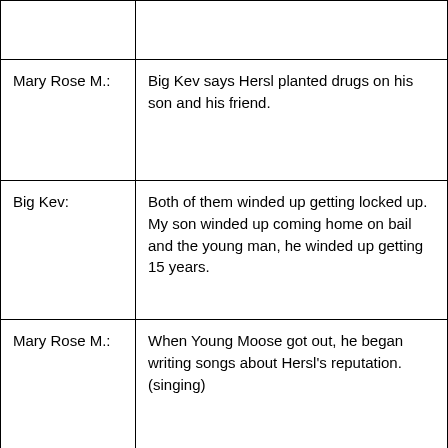| Speaker | Text |
| --- | --- |
|  |  |
| Mary Rose M.: | Big Kev says Hersl planted drugs on his son and his friend. |
| Big Kev: | Both of them winded up getting locked up. My son winded up coming home on bail and the young man, he winded up getting 15 years. |
| Mary Rose M.: | When Young Moose got out, he began writing songs about Hersl's reputation. (singing) |
|  | He was talking about how Hersl harassed him, how Hersl planted drugs on him. I was like man. |